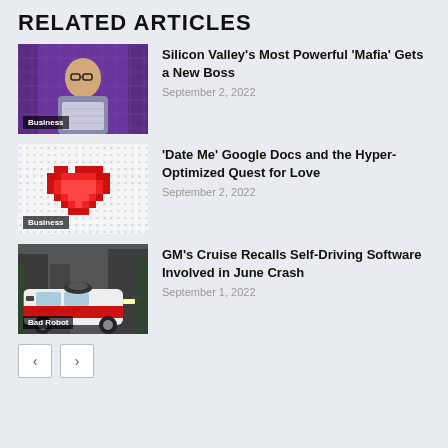RELATED ARTICLES
[Figure (photo): Man speaking on stage with purple lighting, wearing glasses. Label: Business]
Silicon Valley's Most Powerful 'Mafia' Gets a New Boss
September 2, 2022
[Figure (illustration): Pixel art red heart on a grid background. Label: Business]
'Date Me' Google Docs and the Hyper-Optimized Quest for Love
September 2, 2022
[Figure (photo): Self-driving car on a street. Label: Bad Robot]
GM's Cruise Recalls Self-Driving Software Involved in June Crash
September 1, 2022
< >